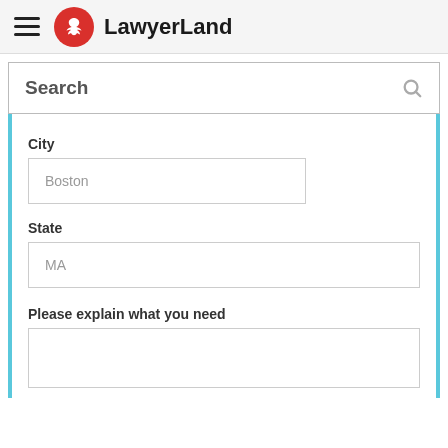LawyerLand
Search
City
Boston
State
MA
Please explain what you need